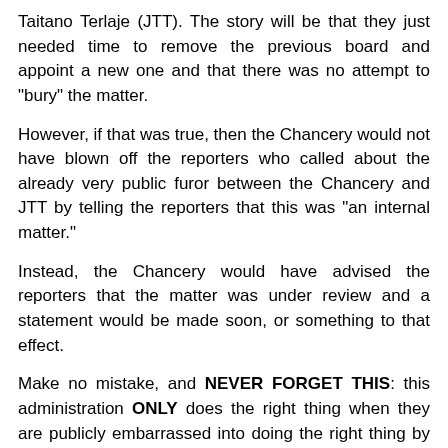Taitano Terlaje (JTT). The story will be that they just needed time to remove the previous board and appoint a new one and that there was no attempt to "bury" the matter.
However, if that was true, then the Chancery would not have blown off the reporters who called about the already very public furor between the Chancery and JTT by telling the reporters that this was "an internal matter."
Instead, the Chancery would have advised the reporters that the matter was under review and a statement would be made soon, or something to that effect.
Make no mistake, and NEVER FORGET THIS: this administration ONLY does the right thing when they are publicly embarrassed into doing the right thing by the laity who will NOT let up and continue to hold them to account.
Now, let us take a look at the announcement with a few comments to follow: